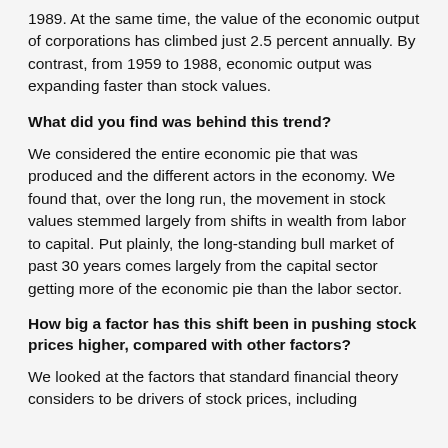1989. At the same time, the value of the economic output of corporations has climbed just 2.5 percent annually. By contrast, from 1959 to 1988, economic output was expanding faster than stock values.
What did you find was behind this trend?
We considered the entire economic pie that was produced and the different actors in the economy. We found that, over the long run, the movement in stock values stemmed largely from shifts in wealth from labor to capital. Put plainly, the long-standing bull market of past 30 years comes largely from the capital sector getting more of the economic pie than the labor sector.
How big a factor has this shift been in pushing stock prices higher, compared with other factors?
We looked at the factors that standard financial theory considers to be drivers of stock prices, including